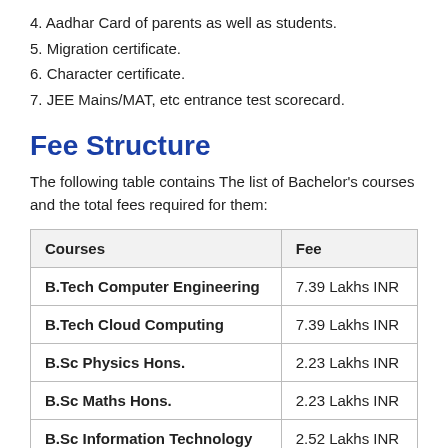4. Aadhar Card of parents as well as students.
5. Migration certificate.
6. Character certificate.
7. JEE Mains/MAT, etc entrance test scorecard.
Fee Structure
The following table contains The list of Bachelor's courses and the total fees required for them:
| Courses | Fee |
| --- | --- |
| B.Tech Computer Engineering | 7.39 Lakhs INR |
| B.Tech Cloud Computing | 7.39 Lakhs INR |
| B.Sc Physics Hons. | 2.23 Lakhs INR |
| B.Sc Maths Hons. | 2.23 Lakhs INR |
| B.Sc Information Technology | 2.52 Lakhs INR |